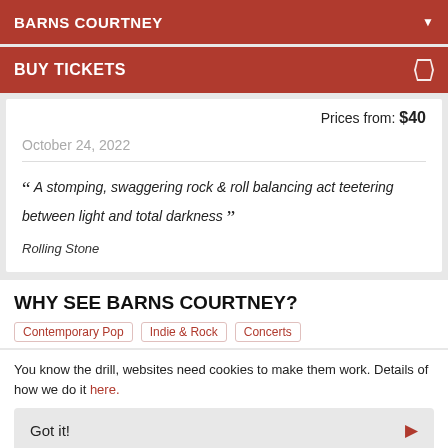BARNS COURTNEY
BUY TICKETS
Prices from: $40
October 24, 2022
““ A stomping, swaggering rock & roll balancing act teetering between light and total darkness ””
Rolling Stone
WHY SEE BARNS COURTNEY?
Contemporary Pop
Indie & Rock
Concerts
You know the drill, websites need cookies to make them work. Details of how we do it here.
Got it!